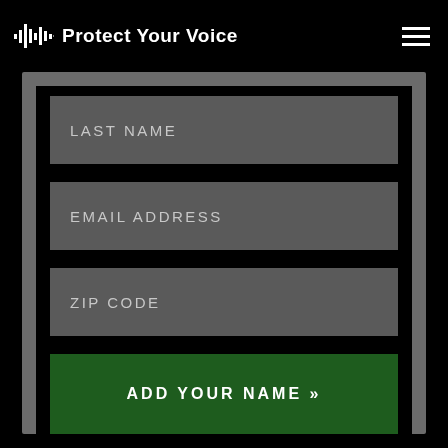Protect Your Voice
LAST NAME
EMAIL ADDRESS
ZIP CODE
ADD YOUR NAME »